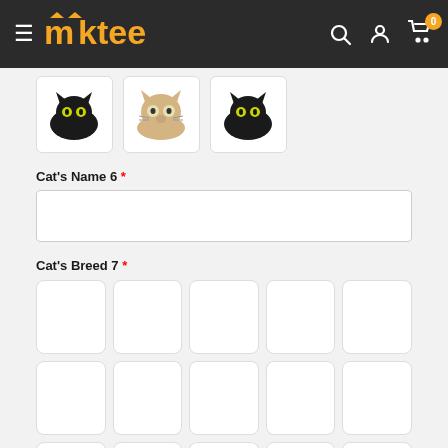mktee navigation bar with hamburger menu, logo, search, account, and cart icons
[Figure (photo): Three cat thumbnails: black cat peeking, tan/beige cat peeking, black cat peeking]
Cat's Name 6 *
[Figure (other): Empty text input field for Cat's Name 6]
Cat's Breed 7 *
[Figure (other): Grid of 15 empty breed selection boxes (3 rows x 5 columns)]